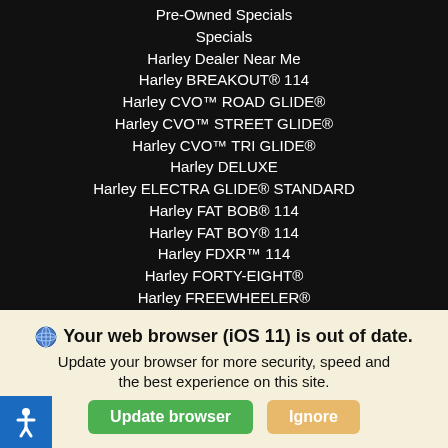Pre-Owned Specials
Specials
Harley Dealer Near Me
Harley BREAKOUT® 114
Harley CVO™ ROAD GLIDE®
Harley CVO™ STREET GLIDE®
Harley CVO™ TRI GLIDE®
Harley DELUXE
Harley ELECTRA GLIDE® STANDARD
Harley FAT BOB® 114
Harley FAT BOY® 114
Harley FDXR™ 114
Harley FORTY-EIGHT®
Harley FREEWHEELER®
Harley HERITAGE CLASSIC
Harley IRON 1200™
Harley IRON 883™
Harley LIVEWIRE™
🌐 Your web browser (iOS 11) is out of date. Update your browser for more security, speed and the best experience on this site.
Update browser | Ignore